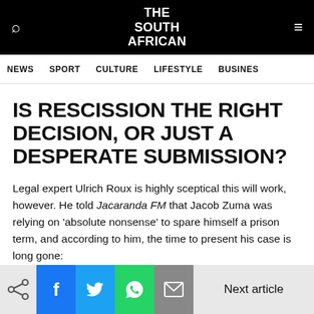THE SOUTH AFRICAN
NEWS SPORT CULTURE LIFESTYLE BUSINES
IS RESCISSION THE RIGHT DECISION, OR JUST A DESPERATE SUBMISSION?
Legal expert Ulrich Roux is highly sceptical this will work, however. He told Jacaranda FM that Jacob Zuma was relying on 'absolute nonsense' to spare himself a prison term, and according to him, the time to present his case is long gone:
Next article